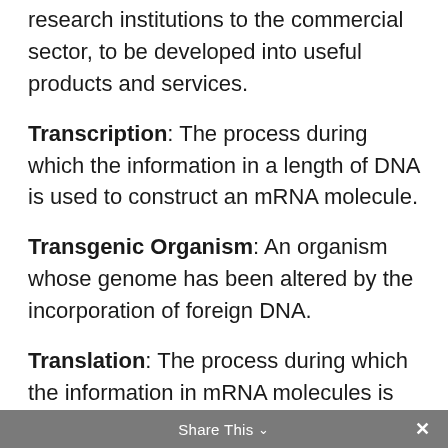research institutions to the commercial sector, to be developed into useful products and services.
Transcription: The process during which the information in a length of DNA is used to construct an mRNA molecule.
Transgenic Organism: An organism whose genome has been altered by the incorporation of foreign DNA.
Translation: The process during which the information in mRNA molecules is used to construct proteins.
Share This ∨  ×